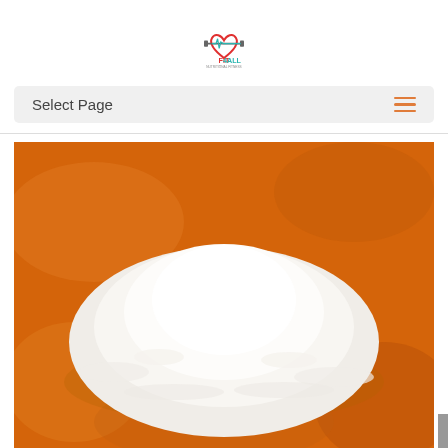[Figure (logo): FIT4ALL logo with a heart and barbell, red and teal colors, text below reads FIT4ALL]
Select Page
[Figure (photo): A close-up photo of a mound of white powder (likely salt or supplement) on an orange/amber surface]
Translate »